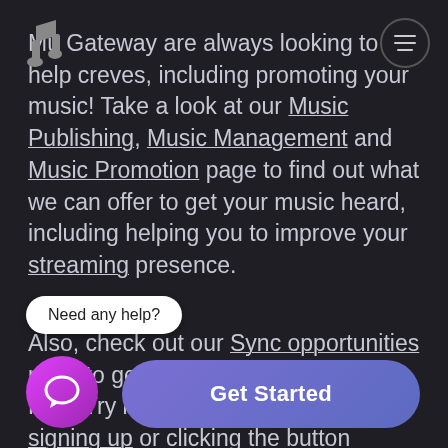[Figure (illustration): Music note icon (eighth note) in gray, top-left area, overlapping with text]
[Figure (illustration): Circular hamburger menu icon (three horizontal lines) with circular border, top-right corner]
Music Gateway are always looking to help creatives, including promoting your music! Take a look at our Music Publishing, Music Management and Music Promotion page to find out what we can offer to get your music heard, including helping you to improve your streaming presence.
Also, check out our Sync opportunities page to get your music in TV and Film! Try it out for free today by signing up or clicking the button
Need any help?
[Figure (illustration): Purple gradient circle with white speech/chat bubble icon inside, bottom-left corner]
Get Started